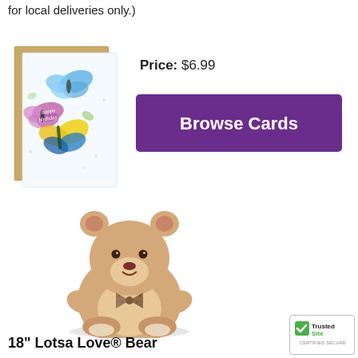for local deliveries only.)
[Figure (photo): Greeting card with colorful butterflies (happy birthday) with kraft envelope visible behind it]
Price: $6.99
[Figure (other): Purple 'Browse Cards' button]
[Figure (photo): 18 inch Lotsa Love teddy bear, beige/tan plush with checkered bow tie, sitting pose]
18" Lotsa Love® Bear
[Figure (logo): TrustedSite Certified Secure badge]